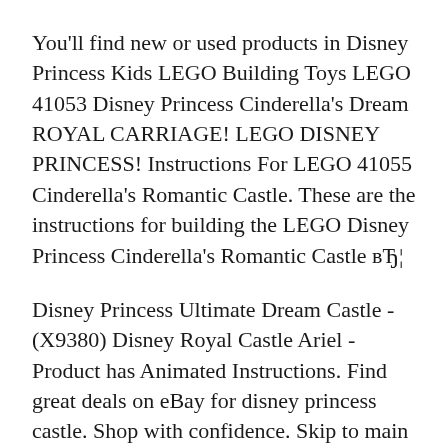You'll find new or used products in Disney Princess Kids LEGO Building Toys LEGO 41053 Disney Princess Cinderella's Dream ROYAL CARRIAGE! LEGO DISNEY PRINCESS! Instructions For LEGO 41055 Cinderella's Romantic Castle. These are the instructions for building the LEGO Disney Princess Cinderella's Romantic Castle вЂ¦
Disney Princess Ultimate Dream Castle - (X9380) Disney Royal Castle Ariel - Product has Animated Instructions. Find great deals on eBay for disney princess castle. Shop with confidence. Skip to main content. Disney Princess Royal Dreams Castle Over 3 Feet Tall, 15